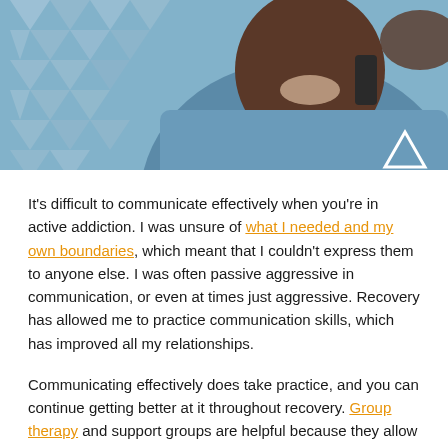[Figure (photo): A smiling Black man talking on a phone, wearing a denim shirt, with a geometric triangle pattern overlay on the left side and a white triangle logo mark in the bottom-right corner.]
It's difficult to communicate effectively when you're in active addiction. I was unsure of what I needed and my own boundaries, which meant that I couldn't express them to anyone else. I was often passive aggressive in communication, or even at times just aggressive. Recovery has allowed me to practice communication skills, which has improved all my relationships.
Communicating effectively does take practice, and you can continue getting better at it throughout recovery. Group therapy and support groups are helpful because they allow you to learn this skill in a safe environment.